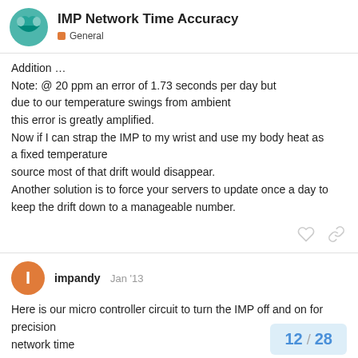IMP Network Time Accuracy — General
Addition …
Note: @ 20 ppm an error of 1.73 seconds per day but due to our temperature swings from ambient this error is greatly amplified.
Now if I can strap the IMP to my wrist and use my body heat as a fixed temperature source most of that drift would disappear.
Another solution is to force your servers to update once a day to keep the drift down to a manageable number.
impandy  Jan '13
Here is our micro controller circuit to turn the IMP off and on for precision network time
12 / 28